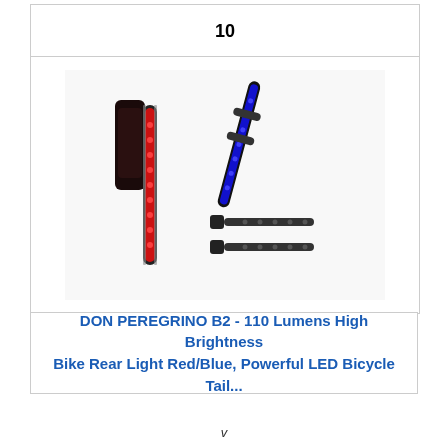10
[Figure (photo): Product photo of DON PEREGRINO B2 bicycle tail lights — a red LED light bar, a blue LED light bar with strap, and two black mounting straps.]
DON PEREGRINO B2 - 110 Lumens High Brightness Bike Rear Light Red/Blue, Powerful LED Bicycle Tail...
v